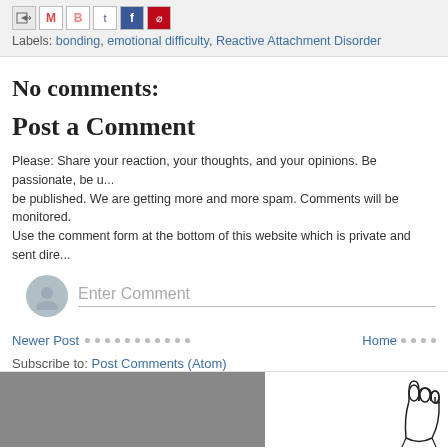[Figure (screenshot): Social sharing icons row: email forward icon, Gmail, Blogger, Twitter, Facebook, Pinterest]
Labels: bonding, emotional difficulty, Reactive Attachment Disorder
No comments:
Post a Comment
Please: Share your reaction, your thoughts, and your opinions. Be passionate, be u... be published. We are getting more and more spam. Comments will be monitored. Use the comment form at the bottom of this website which is private and sent dire...
[Figure (screenshot): Comment input field with avatar placeholder circle and 'Enter Comment' placeholder text]
Newer Post · · · · · · · · · · · · Home · · · ·
Subscribe to: Post Comments (Atom)
[Figure (screenshot): Bottom strip with gray rectangle on left and hand pointer illustration on right]